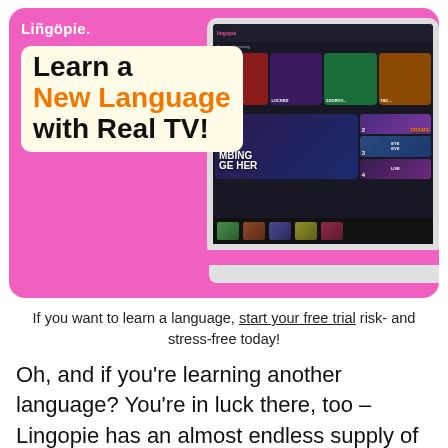[Figure (screenshot): Lingopie app promotional banner on pink background showing laptop with streaming interface and headline 'Learn a New Language with Real TV!']
If you want to learn a language, start your free trial risk- and stress-free today!
Oh, and if you're learning another language? You're in luck there, too – Lingopie has an almost endless supply of content in eight languages available for you to watch!